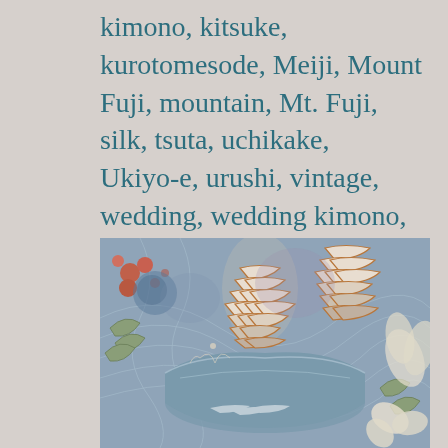kimono, kitsuke, kurotomesode, Meiji, Mount Fuji, mountain, Mt. Fuji, silk, tsuta, uchikake, Ukiyo-e, urushi, vintage, wedding, wedding kimono, Whimsical Fuckery, yuzen      6 Comments
[Figure (photo): Close-up photograph of a decorated Japanese textile or ceramic piece featuring floral and pine cone motifs in muted blue, terracotta, green, and white tones on a blue background.]